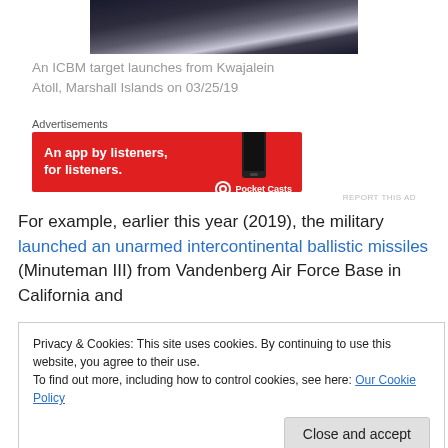[Figure (photo): Dark nighttime photo of an ICBM launch from Kwajalein Atoll, with bright light from the rocket visible against dark sky and water]
An ICBM target launches from Kwajalein Atoll, Marshall Islands on 03/25/19
Advertisements
[Figure (other): Advertisement banner for Pocket Casts app: red background with text 'An app by listeners, for listeners.' with Pocket Casts logo and a phone image]
REPORT THIS AD
For example, earlier this year (2019), the military launched an unarmed intercontinental ballistic missiles (Minuteman III) from Vandenberg Air Force Base in California and
Privacy & Cookies: This site uses cookies. By continuing to use this website, you agree to their use.
To find out more, including how to control cookies, see here: Our Cookie Policy
Close and accept
After a couple of years living the island life in flip-flans we